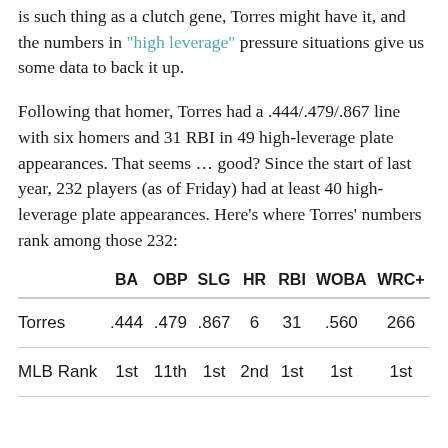is such thing as a clutch gene, Torres might have it, and the numbers in "high leverage" pressure situations give us some data to back it up.
Following that homer, Torres had a .444/.479/.867 line with six homers and 31 RBI in 49 high-leverage plate appearances. That seems … good? Since the start of last year, 232 players (as of Friday) had at least 40 high-leverage plate appearances. Here's where Torres' numbers rank among those 232:
|  | BA | OBP | SLG | HR | RBI | WOBA | WRC+ |
| --- | --- | --- | --- | --- | --- | --- | --- |
| Torres | .444 | .479 | .867 | 6 | 31 | .560 | 266 |
| MLB Rank | 1st | 11th | 1st | 2nd | 1st | 1st | 1st |